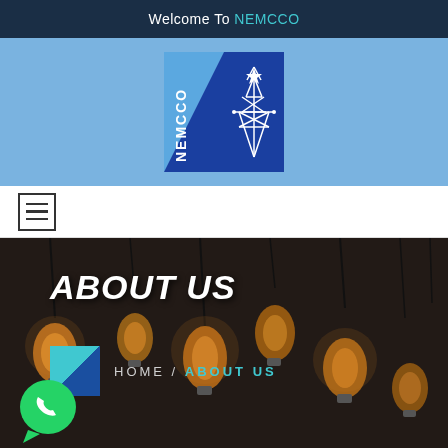Welcome To NEMCCO
[Figure (logo): NEMCCO logo: blue square with white text NEMCCO vertically on left and electric transmission tower on right half with dark blue background]
[Figure (illustration): Hamburger/menu icon: three horizontal lines inside a bordered square]
[Figure (photo): Dark background photo of multiple vintage Edison light bulbs hanging from wires against a dark brick wall]
ABOUT US
HOME / ABOUT US
[Figure (logo): WhatsApp green circular button icon at bottom left]